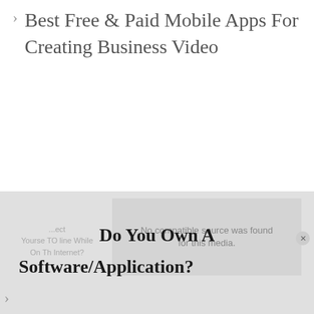Best Free & Paid Mobile Apps For Creating Business Video
[Figure (screenshot): Video player overlay showing 'No compatible source was found for this media.' error message with close button, overlapping partially visible text about connecting to the internet]
Do You Own A Software/Application?